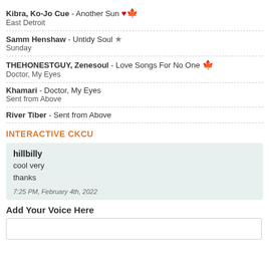Kibra, Ko-Jo Cue - Another Sun [maple leaf] | East Detroit
Samm Henshaw - Untidy Soul [star] | Sunday
THEHONESTGUY, Zenesoul - Love Songs For No One [maple leaf] | Doctor, My Eyes
Khamari - Doctor, My Eyes | Sent from Above
River Tiber - Sent from Above
INTERACTIVE CKCU
hillbilly
cool very
thanks
7:25 PM, February 4th, 2022
Add Your Voice Here